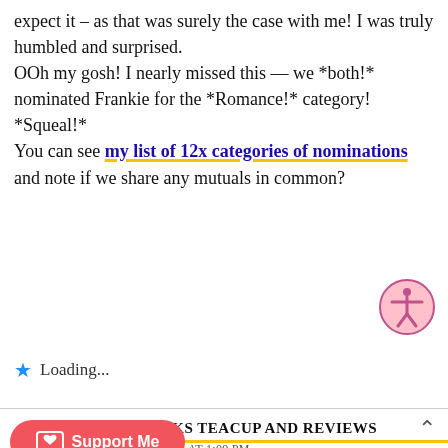expect it – as that was surely the case with me! I was truly humbled and surprised.
OOh my gosh! I nearly missed this — we *both!* nominated Frankie for the *Romance!* category! *Squeal!*
You can see my list of 12x categories of nominations and note if we share any mutuals in common?
Loading...
OOKS TEACUP AND REVIEWS
Y 2020 AT 1:09 PM
REPLY